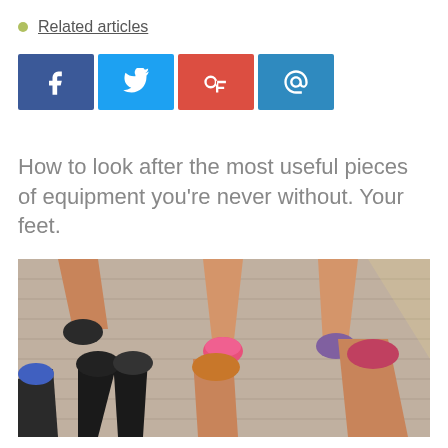Related articles
[Figure (infographic): Four social media sharing buttons: Facebook (dark blue), Twitter (light blue), Google+ (red), Email (blue)]
How to look after the most useful pieces of equipment you're never without. Your feet.
[Figure (photo): Overhead photo of several people standing in a circle with their feet pointing inward, all wearing colorful running shoes, on a cobblestone or paved surface.]